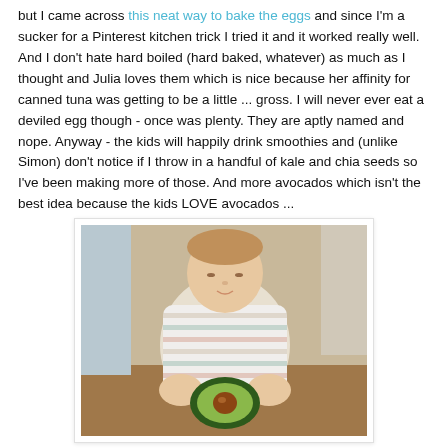but I came across this neat way to bake the eggs and since I'm a sucker for a Pinterest kitchen trick I tried it and it worked really well. And I don't hate hard boiled (hard baked, whatever) as much as I thought and Julia loves them which is nice because her affinity for canned tuna was getting to be a little ... gross. I will never ever eat a deviled egg though - once was plenty. They are aptly named and nope. Anyway - the kids will happily drink smoothies and (unlike Simon) don't notice if I throw in a handful of kale and chia seeds so I've been making more of those. And more avocados which isn't the best idea because the kids LOVE avocados ...
[Figure (photo): A young toddler in a striped shirt holding a halved avocado with the pit visible, looking down at it. Warm indoor lighting, wooden floor visible in background.]